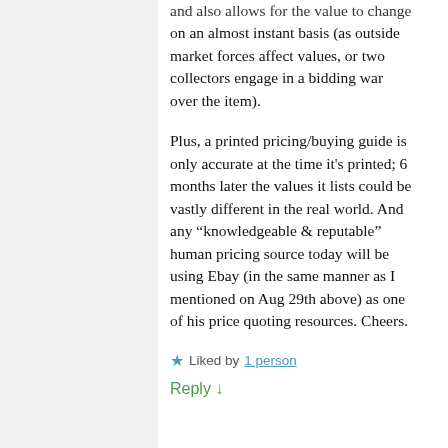and also allows for the value to change on an almost instant basis (as outside market forces affect values, or two collectors engage in a bidding war over the item).
Plus, a printed pricing/buying guide is only accurate at the time it's printed; 6 months later the values it lists could be vastly different in the real world. And any “knowledgeable & reputable” human pricing source today will be using Ebay (in the same manner as I mentioned on Aug 29th above) as one of his price quoting resources. Cheers.
★ Liked by 1 person
Reply ↓